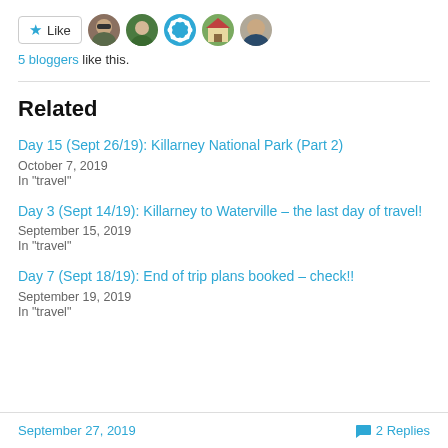[Figure (other): Like button with star icon and 5 blogger avatar thumbnails]
5 bloggers like this.
Related
Day 15 (Sept 26/19): Killarney National Park (Part 2)
October 7, 2019
In "travel"
Day 3 (Sept 14/19): Killarney to Waterville – the last day of travel!
September 15, 2019
In "travel"
Day 7 (Sept 18/19): End of trip plans booked – check!!
September 19, 2019
In "travel"
September 27, 2019
2 Replies